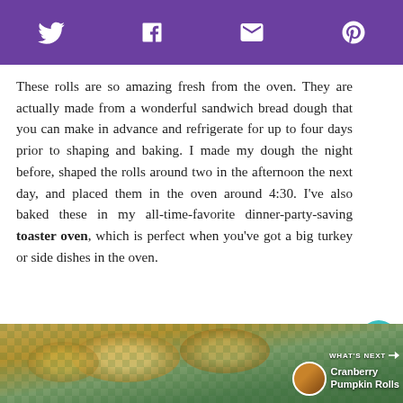Social share bar with Twitter, Facebook, Email, Pinterest icons
These rolls are so amazing fresh from the oven. They are actually made from a wonderful sandwich bread dough that you can make in advance and refrigerate for up to four days prior to shaping and baking. I made my dough the night before, shaped the rolls around two in the afternoon the next day, and placed them in the oven around 4:30. I've also baked these in my all-time-favorite dinner-party-saving toaster oven, which is perfect when you've got a big turkey or side dishes in the oven.
[Figure (photo): Photo of rolls on a checkered green and white tablecloth, partially visible at the bottom of the page, with a 'What's Next: Cranberry Pumpkin Rolls' overlay]